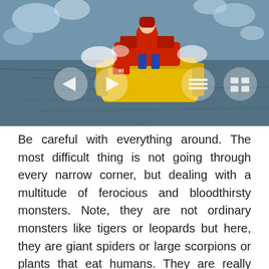[Figure (photo): A person riding a yellow snow vehicle or bumper car on icy/snowy water, wearing red jacket. Navigation arrows and menu icons overlay the bottom of the image.]
Be careful with everything around. The most difficult thing is not going through every narrow corner, but dealing with a multitude of ferocious and bloodthirsty monsters. Note, they are not ordinary monsters like tigers or leopards but here, they are giant spiders or large scorpions or plants that eat humans. They are really terrible in both appearance and barbaric actions when attacking the player. Therefore, without survival skills, this is hell for